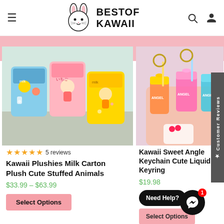BESTOF KAWAII
[Figure (photo): Kawaii milk carton plush stuffed animals in pink and yellow colors]
[Figure (photo): Kawaii Sweet Angle keychains with cute liquid keyring design in pink and orange]
★★★★★ 5 reviews
Kawaii Plushies Milk Carton Plush Cute Stuffed Animals
$33.99 – $63.99
Select Options
Kawaii Sweet Angle Keychain Cute Liquid Keyring
$19.98
Need Help?
Select Options